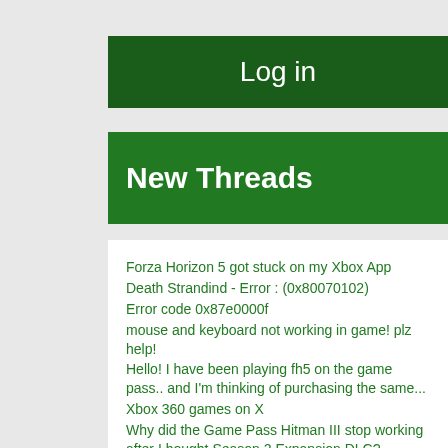Log in
New Threads
Forza Horizon 5 got stuck on my Xbox App
Death Strandind - Error : (0x80070102)
Error code 0x87e0000f
mouse and keyboard not working in game! plz help!
Hello! I have been playing fh5 on the game pass.. and I'm thinking of purchasing the same...
Xbox 360 games on X
Why did the Game Pass Hitman III stop working after I bought Season 2 Expansion DLC?
I earned 5 Badge in my microsoft